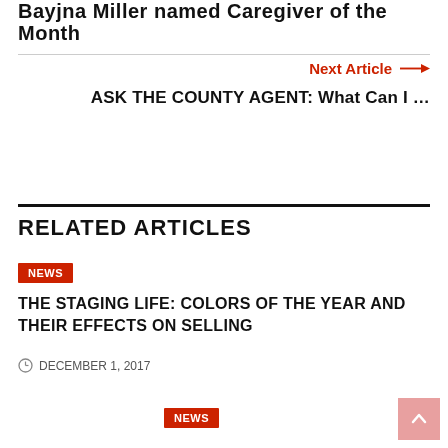Bayjna Miller named Caregiver of the Month
Next Article →
ASK THE COUNTY AGENT: What Can I ...
RELATED ARTICLES
NEWS
THE STAGING LIFE: COLORS OF THE YEAR AND THEIR EFFECTS ON SELLING
DECEMBER 1, 2017
NEWS